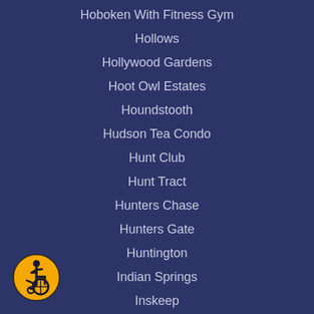Hoboken With Fitness Gym
Hollows
Hollywood Gardens
Hoot Owl Estates
Houndstooth
Hudson Tea Condo
Hunt Club
Hunt Tract
Hunters Chase
Hunters Gate
Huntington
Indian Springs
Inskeep
Inverness Green
Jersey City
Jersey City With Elevator
Jessup Mill Estates
[Figure (illustration): Wheelchair accessibility icon: yellow circle with black border containing a stylized figure in a wheelchair]